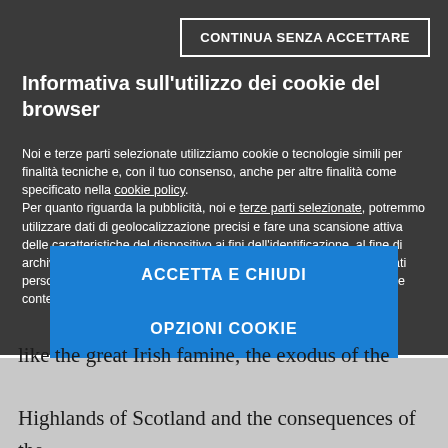[Figure (screenshot): Cookie consent overlay on dark background with 'CONTINUA SENZA ACCETTARE' button (outlined), title 'Informativa sull'utilizzo dei cookie del browser', body text about cookie usage, 'ACCETTA E CHIUDI' blue button, 'OPZIONI COOKIE' blue button, and Mondadori Media logo]
like the great Irish famine, the exodus of the Highlands of Scotland and the consequences of the